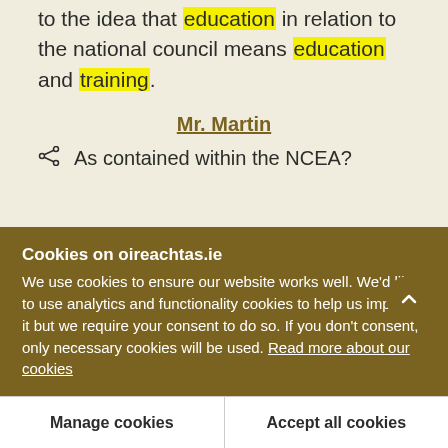to the idea that education in relation to the national council means education and training.
Mr. Martin
As contained within the NCEA?
Mr. Norris
Cookies on oireachtas.ie
We use cookies to ensure our website works well. We'd like to use analytics and functionality cookies to help us improve it but we require your consent to do so. If you don't consent, only necessary cookies will be used. Read more about our cookies
Manage cookies
Accept all cookies